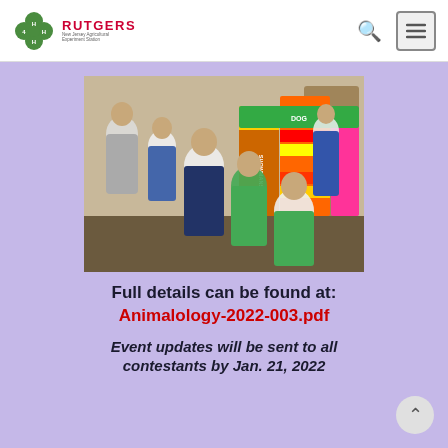4-H Rutgers New Jersey Agricultural Experiment Station
[Figure (photo): Group of children and adults gathered around a colorful tri-fold display board about Dog Showmanship at what appears to be a 4-H event indoors.]
Full details can be found at: Animalology-2022-003.pdf
Event updates will be sent to all contestants by Jan. 21, 2022